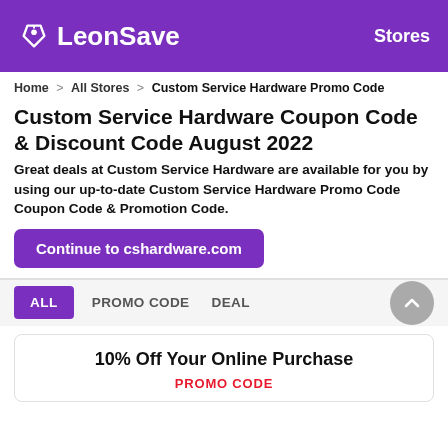LeonSave | Stores
Home > All Stores > Custom Service Hardware Promo Code
Custom Service Hardware Coupon Code & Discount Code August 2022
Great deals at Custom Service Hardware are available for you by using our up-to-date Custom Service Hardware Promo Code Coupon Code & Promotion Code.
Continue to cshardware.com
ALL   PROMO CODE   DEAL
10% Off Your Online Purchase
PROMO CODE